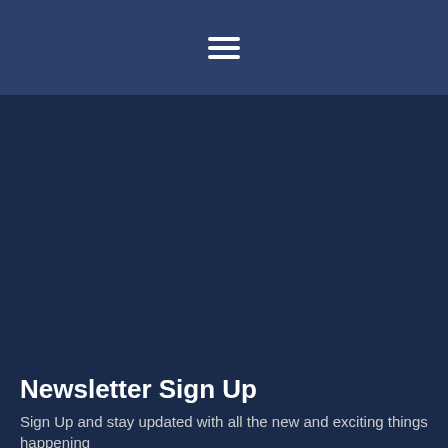☰ (hamburger menu icon)
[Figure (other): Large dark navy blue hero/banner area with no visible content]
Newsletter Sign Up
Sign Up and stay updated with all the new and exciting things happening